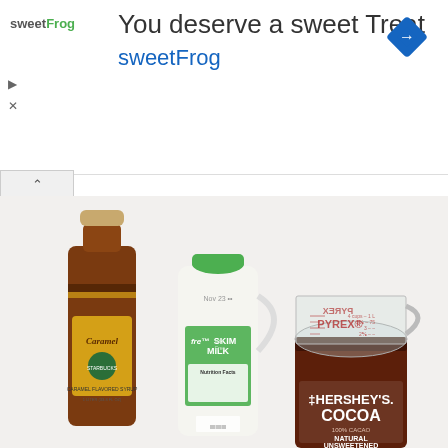You deserve a sweet Treat
sweetFrog
[Figure (photo): Photo of three ingredients on a white surface: a Starbucks Caramel Flavored Syrup bottle (dark amber liquid, 1 liter/33.8 fl oz), a carton of fat-free skim milk with green cap, and a Hershey's Cocoa Natural Unsweetened 100% Cacao container with a Pyrex measuring cup resting on top]